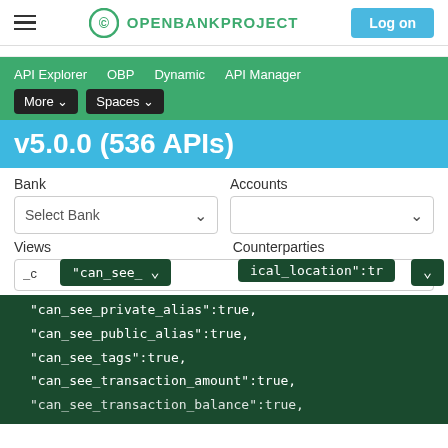OPENBANKPROJECT — Log on
API Explorer  OBP  Dynamic  API Manager  More ▾  Spaces ▾
v5.0.0 (536 APIs)
Bank   Accounts
Select Bank ∨    ∨
Views   Counterparties
"can_see_ ical_location":tr
"can_see_private_alias":true,
"can_see_public_alias":true,
"can_see_tags":true,
"can_see_transaction_amount":true,
"can_see_transaction_balance":true,